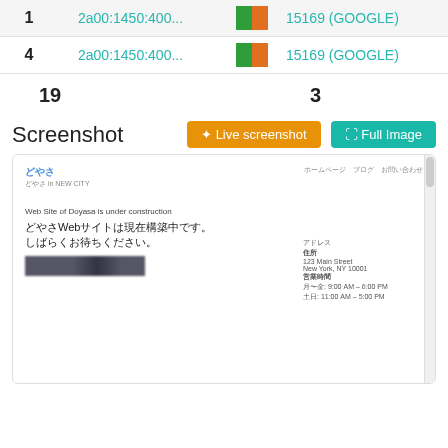| # | IP | Flag | ASN |
| --- | --- | --- | --- |
| 1 | 2a00:1450:400... | IE | 15169 (GOOGLE) |
| 4 | 2a00:1450:400... | IE | 15169 (GOOGLE) |
19   3
Screenshot
[Figure (screenshot): Screenshot of a website under construction showing Japanese text: どやさWebサイトは現在構築中です。しばらくお待ちください。 with address and hours on the right side.]